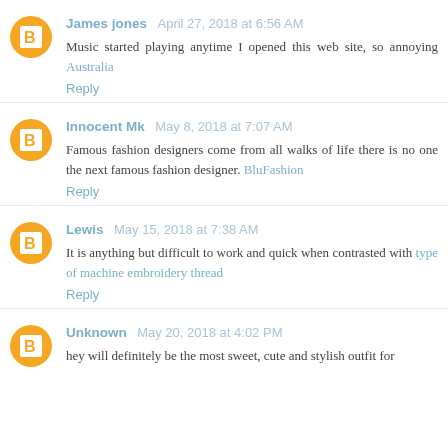James jones April 27, 2018 at 6:56 AM
Music started playing anytime I opened this web site, so annoying Australia
Reply
Innocent Mk May 8, 2018 at 7:07 AM
Famous fashion designers come from all walks of life there is no one the next famous fashion designer. BluFashion
Reply
Lewis May 15, 2018 at 7:38 AM
It is anything but difficult to work and quick when contrasted with type of machine embroidery thread
Reply
Unknown May 20, 2018 at 4:02 PM
hey will definitely be the most sweet, cute and stylish outfit for